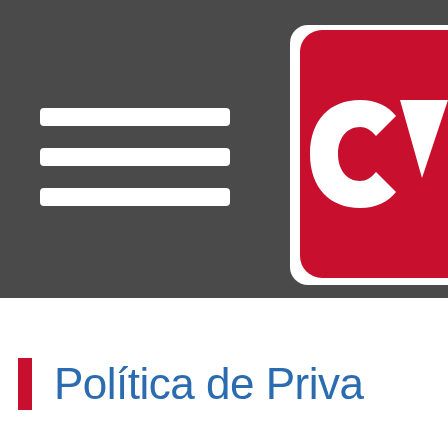[Figure (logo): CVS logo on dark grey header background with hamburger menu lines on left side. Red rounded rectangle badge containing white 'CV' letters. Dark grey bar spans full width.]
Política de Priva